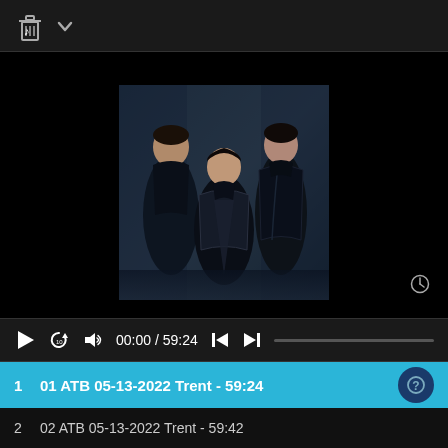[Figure (screenshot): Music player app screenshot showing album art of three people dressed in dark clothing against a dark background, with playback controls and a playlist]
00:00 / 59:24
1  01 ATB 05-13-2022 Trent  - 59:24
2  02 ATB 05-13-2022 Trent  - 59:42